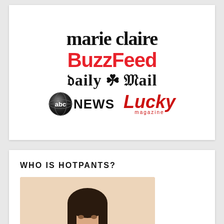[Figure (logo): Media logos collage: marie claire (black serif), BuzzFeed (red bold), Daily Mail (black blackletter), abc NEWS (with globe icon), Lucky magazine (red italic)]
WHO IS HOTPANTS?
[Figure (photo): Portrait photo of a woman with dark hair, cropped, on light peach background]